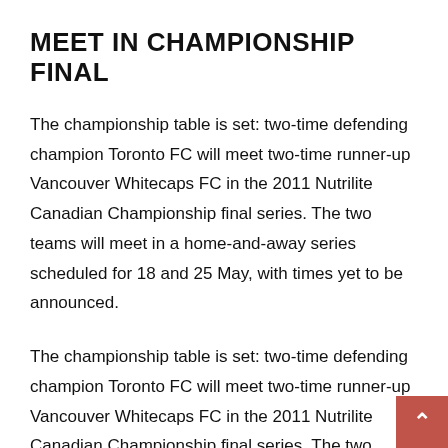MEET IN CHAMPIONSHIP FINAL
The championship table is set: two-time defending champion Toronto FC will meet two-time runner-up Vancouver Whitecaps FC in the 2011 Nutrilite Canadian Championship final series. The two teams will meet in a home-and-away series scheduled for 18 and 25 May, with times yet to be announced.
The championship table is set: two-time defending champion Toronto FC will meet two-time runner-up Vancouver Whitecaps FC in the 2011 Nutrilite Canadian Championship final series. The two teams will meet in a